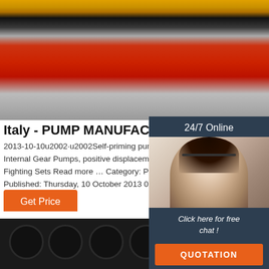[Figure (photo): Top photo showing industrial equipment with yellow machinery, black panels, and red carpet/flooring on concrete ground]
Italy - PUMP MANUFACTURERS
2013-10-10u2002·u2002Self-priming pumps, Centrifugal pumps, Internal Gear Pumps, positive displacement Pumps, Fire Fighting Sets Read more … Category: Pump Manufacturers Published: Thursday, 10 October 2013 07:17
[Figure (photo): Chat widget with woman wearing headset smiling, 24/7 Online text, Click here for free chat message, and QUOTATION button]
Get Price
[Figure (photo): Bottom photo showing close-up of black industrial pump component with circular holes/perforations, with TOP logo in lower right corner]